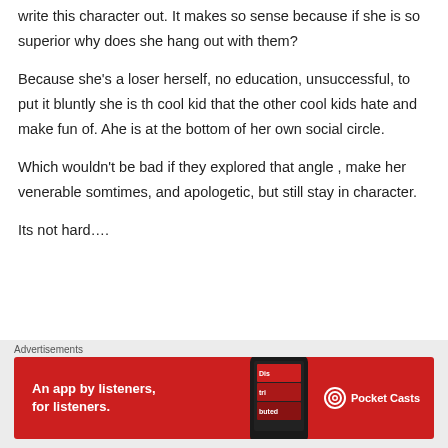write this character out. It makes so sense because if she is so superior why does she hang out with them?
Because she's a loser herself, no education, unsuccessful, to put it bluntly she is th cool kid that the other cool kids hate and make fun of. Ahe is at the bottom of her own social circle.
Which wouldn't be bad if they explored that angle , make her venerable somtimes, and apologetic, but still stay in character.
Its not hard….
[Figure (other): Red advertisement banner for Pocket Casts app with text 'An app by listeners, for listeners.' and a phone graphic]
Advertisements